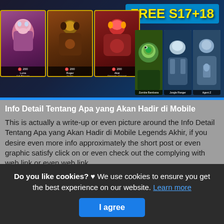[Figure (screenshot): Mobile Legends game screenshot showing hero cards with 'FREE S17+18' banner, featuring heroes Luna/Ash Blossom, Roger/Anubis, Akai/Akatombo-Samurai on the left, and smaller cards Zombie Bambana, Jungle Ranger, Agent Z on the right]
Info Detail Tentang Apa yang Akan Hadir di Mobile
This is actually a write-up or even picture around the Info Detail Tentang Apa yang Akan Hadir di Mobile Legends Akhir, if you desire even more info approximately the short post or even graphic satisfy click on or even check out the complying with web link or even web link .
(Read More)
Do you like cookies? ♥ We use cookies to ensure you get the best experience on our website. Learn more
I agree